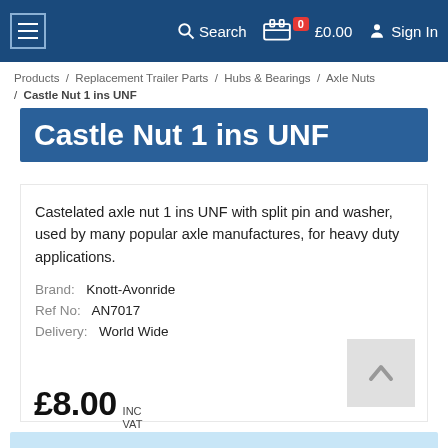Search   0  £0.00   Sign In
Products / Replacement Trailer Parts / Hubs & Bearings / Axle Nuts / Castle Nut 1 ins UNF
Castle Nut 1 ins UNF
Castelated axle nut 1 ins UNF with split pin and washer, used by many popular axle manufactures, for heavy duty applications.
Brand: Knott-Avonride
Ref No: AN7017
Delivery: World Wide
£8.00 INC VAT